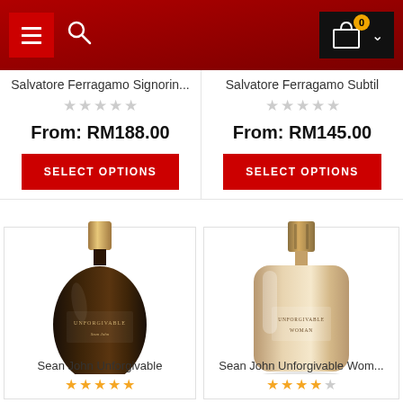[Figure (screenshot): Mobile e-commerce website navigation bar with hamburger menu, search icon, and shopping cart with 0 items badge]
Salvatore Ferragamo Signorin...
From: RM188.00
SELECT OPTIONS
Salvatore Ferragamo Subtil
From: RM145.00
SELECT OPTIONS
[Figure (photo): Dark brown glass perfume bottle with gold cap labeled 'Unforgivable' by Sean John]
Sean John Unforgivable
[Figure (photo): Beige/champagne glass perfume bottle with gold cap labeled 'Unforgivable Woman' by Sean John]
Sean John Unforgivable Wom...